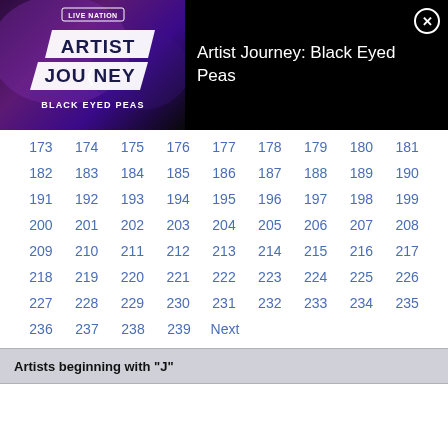[Figure (screenshot): Live Nation Artist Journey: Black Eyed Peas logo/album art on dark purple background]
Artist Journey: Black Eyed Peas
173 174 175 176 177 178 179 180 181
182 183 184 185 186 187 188 189 190
191 192 193 194 195 196 197 198 199
200 201 202 203 204 205 206 207 208
209 210 211 212 213 214 215 216 217
218 219 220 221 222 223 224 225 226
227 228 229 230 231 232 233 234 235
236 237 238 239 Next
Artists beginning with "J"